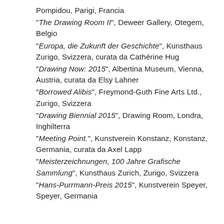Pompidou, Parigi, Francia
"The Drawing Room II", Deweer Gallery, Otegem, Belgio
"Europa, die Zukunft der Geschichte", Kunsthaus Zurigo, Svizzera, curata da Cathérine Hug
"Drawing Now: 2015", Albertina Museum, Vienna, Austria, curata da Elsy Lahner
"Borrowed Alibis", Freymond-Guth Fine Arts Ltd., Zurigo, Svizzera
"Drawing Biennial 2015", Drawing Room, Londra, Inghilterra
"Meeting Point.", Kunstverein Konstanz, Konstanz, Germania, curata da Axel Lapp
"Meisterzeichnungen, 100 Jahre Grafische Sammlung", Kunsthaus Zurich, Zurigo, Svizzera
"Hans-Purrmann-Preis 2015", Kunstverein Speyer, Speyer, Germania